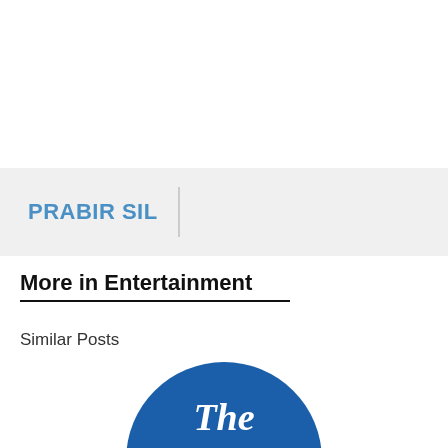PRABIR SIL
More in Entertainment
Similar Posts
[Figure (logo): The Assam Tribune logo — blue circle with white old-English style text reading 'The Assam Tribune']